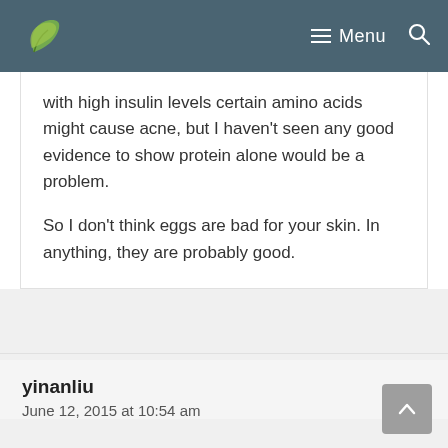Menu
with high insulin levels certain amino acids might cause acne, but I haven't seen any good evidence to show protein alone would be a problem.

So I don't think eggs are bad for your skin. In anything, they are probably good.
yinanliu
June 12, 2015 at 10:54 am